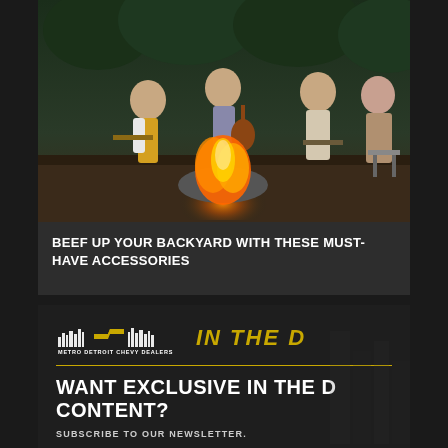[Figure (photo): Group of young adults sitting around a campfire outdoors at dusk, one playing guitar, trees in background]
BEEF UP YOUR BACKYARD WITH THESE MUST-HAVE ACCESSORIES
[Figure (logo): Metro Detroit Chevy Dealers logo with city skyline and Chevy bowtie, alongside 'IN THE D' text in gold italic]
WANT EXCLUSIVE IN THE D CONTENT?
SUBSCRIBE TO OUR NEWSLETTER.